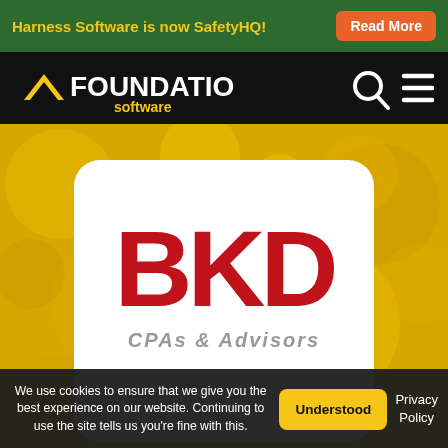Harness Software is now SafetyHQ! Read More
[Figure (logo): Foundation Software logo — white chevron/tent icon with FOUNDATION text in white and 'software' in yellow, on black background. Search and hamburger menu icons on right.]
[Figure (photo): Yellow textured background (bokeh/blurred yellow) with a white rounded rectangle card containing the BKD logo in large red block letters, and 'CPAs & Advisors' text below partially visible.]
We use cookies to ensure that we give you the best experience on our website. Continuing to use the site tells us you're fine with this.
Understood
Privacy Policy